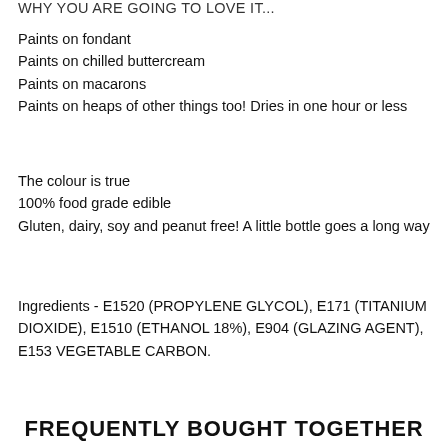WHY YOU ARE GOING TO LOVE IT...
Paints on fondant
Paints on chilled buttercream
Paints on macarons
Paints on heaps of other things too! Dries in one hour or less
The colour is true
100% food grade edible
Gluten, dairy, soy and peanut free! A little bottle goes a long way
Ingredients - E1520 (PROPYLENE GLYCOL), E171 (TITANIUM DIOXIDE), E1510 (ETHANOL 18%), E904 (GLAZING AGENT), E153 VEGETABLE CARBON.
FREQUENTLY BOUGHT TOGETHER